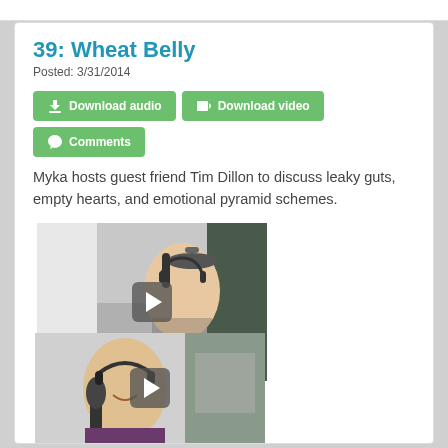39: Wheat Belly
Posted: 3/31/2014
Download audio | Download video | Comments
Myka hosts guest friend Tim Dillon to discuss leaky guts, empty hearts, and emotional pyramid schemes.
[Figure (photo): Woman wearing headphones speaking into a microphone at a podcast recording setup, smiling and pointing, with a play button overlay indicating a video preview.]
PREVIEW
[Figure (photo): Man wearing headphones smiling at a microphone in a podcast studio, with a play button overlay.]